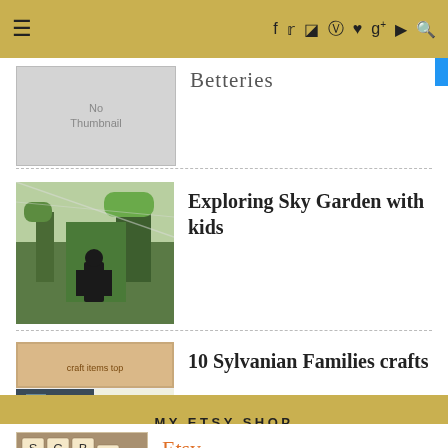≡  f  t  ☷  ⊕  ♥  g+  ▶  🔍
Betteries
[Figure (photo): No Thumbnail placeholder box]
Exploring Sky Garden with kids
[Figure (photo): Photo of a person in Sky Garden with plants]
10 Sylvanian Families crafts
[Figure (photo): Grid image collage for 10 Sylvanian Families crafts]
MY ETSY SHOP
Etsy
[Figure (photo): Scrabble tiles photo for Etsy shop]